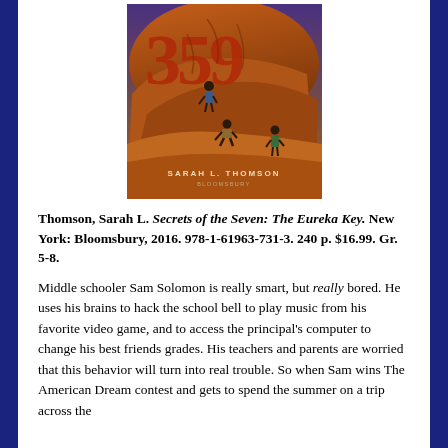[Figure (illustration): Book cover of 'Secrets of the Seven: The Eureka Key' by Sarah L. Thomson, published by Bloomsbury. Cover shows three children climbing red rock formations with carved numerals (resembling '359' or similar) on the rocks, set against a twilight sky.]
Thomson, Sarah L. Secrets of the Seven: The Eureka Key. New York: Bloomsbury, 2016. 978-1-61963-731-3. 240 p. $16.99. Gr. 5-8.
Middle schooler Sam Solomon is really smart, but really bored. He uses his brains to hack the school bell to play music from his favorite video game, and to access the principal's computer to change his best friends grades. His teachers and parents are worried that this behavior will turn into real trouble. So when Sam wins The American Dream contest and gets to spend the summer on a trip across the